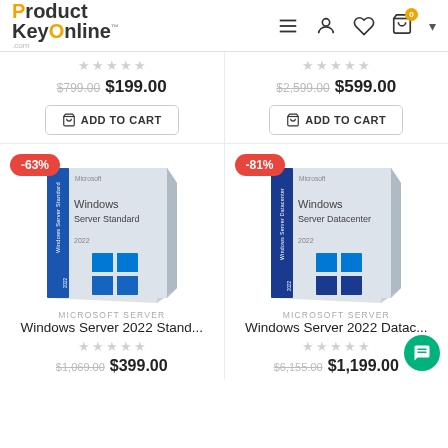ProductKeyOnline.com
$799.00 $199.00 (left product, top)
$2,599.00 $599.00 (right product, top)
ADD TO CART (left)
ADD TO CART (right)
[Figure (illustration): Windows Server Standard 2022 software box with -63% discount badge]
[Figure (illustration): Windows Server Datacenter 2022 software box with -81% discount badge]
MICROSOFT SERVER
Windows Server 2022 Stand...
MICROSOFT SERVER
Windows Server 2022 Datac...
$1,069.00 $399.00 (left product, bottom)
$6,155.00 $1,199.00 (right product, bottom)